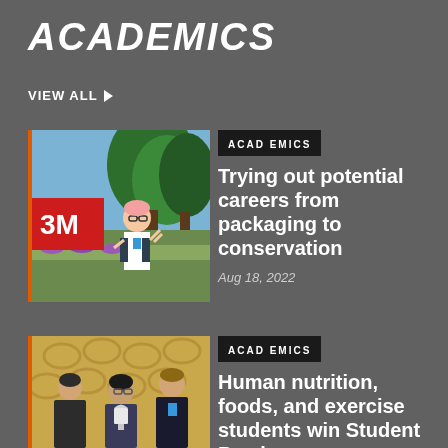ACADEMICS
VIEW ALL ▶
[Figure (photo): Student posing in front of 3M headquarters sign with trees in background]
ACADEMICS
Trying out potential careers from packaging to conservation
Aug 18, 2022
[Figure (photo): Three students posing together holding a trophy award at an academic competition]
ACADEMICS
Human nutrition, foods, and exercise students win Student Bowl